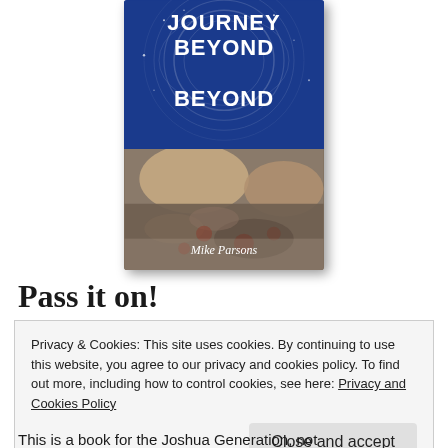[Figure (illustration): Book cover titled 'Journey Beyond Beyond' by Mike Parsons. Top half shows a dark blue night sky with circular star trails. Bottom half shows rocky terrain/boulders with brown and grey tones. Author name 'Mike Parsons' appears in white italic at bottom of cover.]
Pass it on!
Privacy & Cookies: This site uses cookies. By continuing to use this website, you agree to our privacy and cookies policy. To find out more, including how to control cookies, see here: Privacy and Cookies Policy
Close and accept
This is a book for the Joshua Generation, not